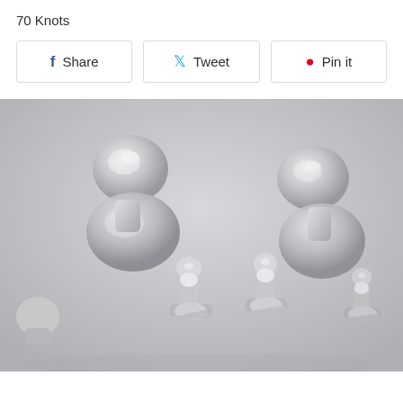70 Knots
Share | Tweet | Pin it
[Figure (photo): Multiple silver/chrome cufflinks scattered on a light gray surface, showing both the decorative ball-top side and the toggle/bar closure mechanism.]